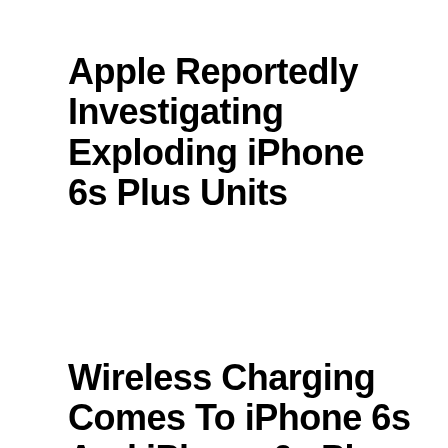Apple Reportedly Investigating Exploding iPhone 6s Plus Units
Wireless Charging Comes To iPhone 6s And iPhone 6s Pl...